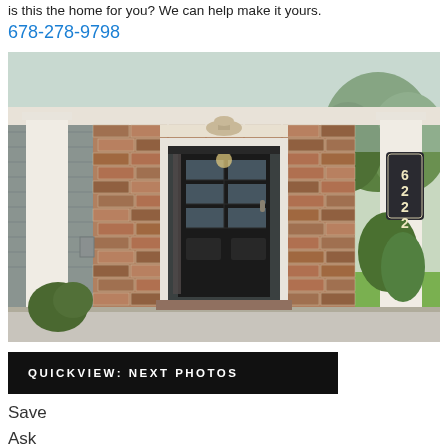is this the home for you? We can help make it yours.
678-278-9798
[Figure (photo): Exterior front entrance of a brick home with a black door with glass panels, white columns, concrete porch, house number 6222 on right column, greenery visible on sides and background.]
QUICKVIEW: NEXT PHOTOS
Save
Ask
Tour
Hide